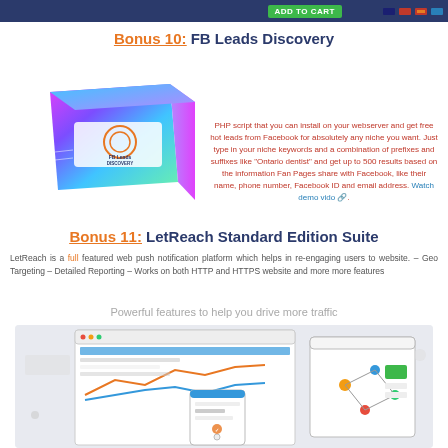[Figure (screenshot): Top navigation bar with Add to Cart button and payment icons]
Bonus 10: FB Leads Discovery
[Figure (photo): FB Leads Discovery product box with colorful design]
PHP script that you can install on your webserver and get free hot leads from Facebook for absolutely any niche you want. Just type in your niche keywords and a combination of prefixes and suffixes like "Ontario dentist" and get up to 500 results based on the information Fan Pages share with Facebook, like their name, phone number, Facebook ID and email address. Watch demo vido 🔗.
Bonus 11: LetReach Standard Edition Suite
LetReach is a full featured web push notification platform which helps in re-engaging users to website. – Geo Targeting – Detailed Reporting – Works on both HTTP and HTTPS website and more more features
Powerful features to help you drive more traffic
[Figure (screenshot): LetReach dashboard shown on multiple devices: desktop, tablet, and mobile]